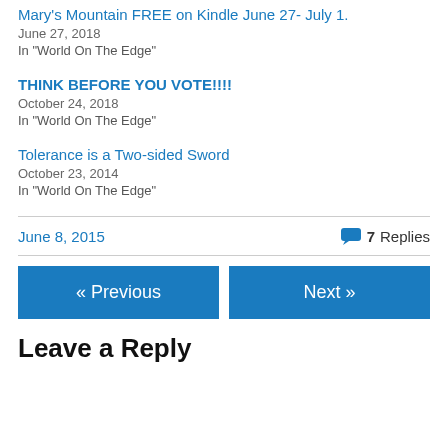Mary's Mountain FREE on Kindle June 27- July 1.
June 27, 2018
In "World On The Edge"
THINK BEFORE YOU VOTE!!!!
October 24, 2018
In "World On The Edge"
Tolerance is a Two-sided Sword
October 23, 2014
In "World On The Edge"
June 8, 2015
7 Replies
« Previous
Next »
Leave a Reply